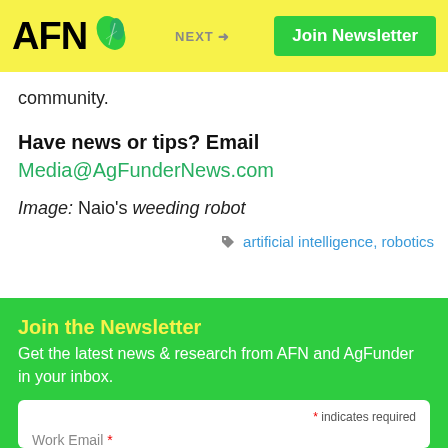AFN | NEXT → | Join Newsletter
community.
Have news or tips? Email
Media@AgFunderNews.com
Image: Naio's weeding robot
artificial intelligence, robotics
Join the Newsletter
Get the latest news & research from AFN and AgFunder in your inbox.
* indicates required
Work Email *